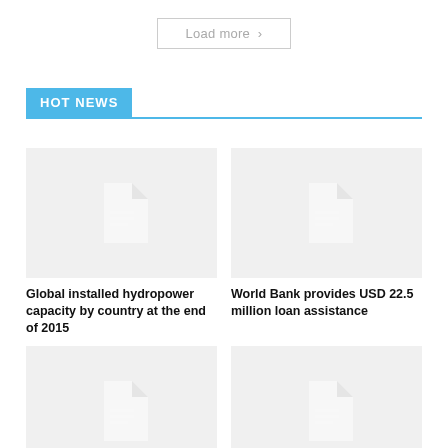Load more >
HOT NEWS
[Figure (illustration): Document icon placeholder image for news card]
Global installed hydropower capacity by country at the end of 2015
[Figure (illustration): Document icon placeholder image for news card]
World Bank provides USD 22.5 million loan assistance
[Figure (illustration): Document icon placeholder image for news card (partially visible)]
[Figure (illustration): Document icon placeholder image for news card (partially visible)]